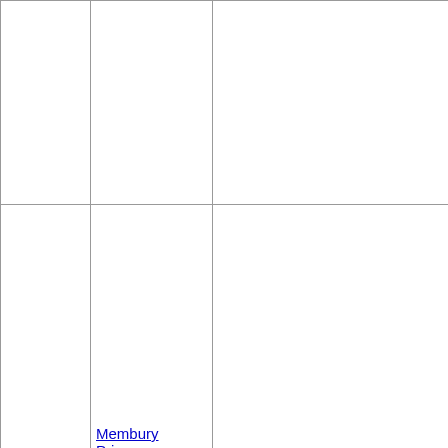|  |  |  |  |
| --- | --- | --- | --- |
|  |  |  | per pre call Mu Sch |
| Next school | Membury Primary School and Pre-School | http://www.acornacademy.org/membury Membury Primary School and Pre-School | No Ac Ac Pro info par cur Oft SE gov me sch pro reg com |
| Next 10 | Baily's | http://...BailyL... | Off driv in T Tei L |